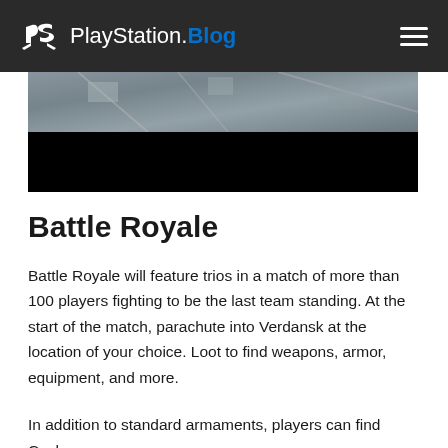PlayStation.Blog
[Figure (photo): Aerial view of a map/location from a video game (Verdansk), partially obscured by a black bar at the bottom]
Battle Royale
Battle Royale will feature trios in a match of more than 100 players fighting to be the last team standing. At the start of the match, parachute into Verdansk at the location of your choice. Loot to find weapons, armor, equipment, and more.
In addition to standard armaments, players can find Cash